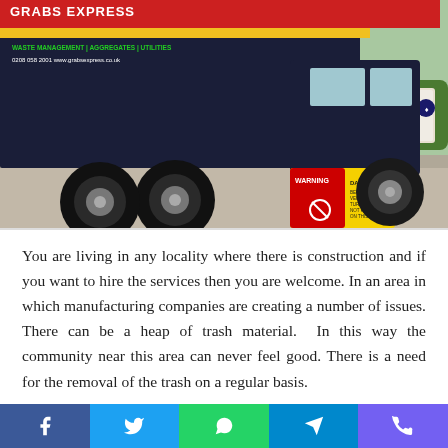[Figure (photo): A large dark blue Grabs Express waste management tipper truck parked near the Tottenham Hotspur Training Centre. The truck has yellow and red warning signs on its side. Green hedges and a sign for the training centre are visible in the background.]
You are living in any locality where there is construction and if you want to hire the services then you are welcome. In an area in which manufacturing companies are creating a number of issues. There can be a heap of trash material.  In this way the community near this area can never feel good. There is a need for the removal of the trash on a regular basis.